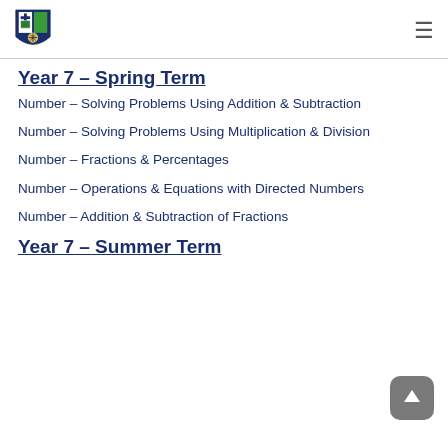School logo and navigation menu
Year 7 – Spring Term
Number – Solving Problems Using Addition & Subtraction
Number – Solving Problems Using Multiplication & Division
Number – Fractions & Percentages
Number – Operations & Equations with Directed Numbers
Number – Addition & Subtraction of Fractions
Year 7 – Summer Term